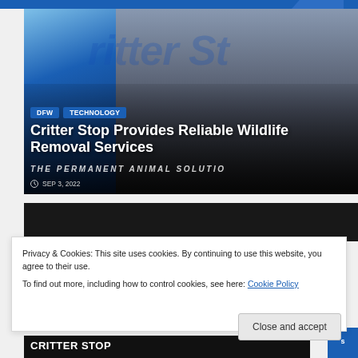[Figure (screenshot): Website screenshot showing Critter Stop wildlife removal service blog post with hero image featuring the Critter Stop logo (blue animal silhouette), category tags DFW and TECHNOLOGY, headline 'Critter Stop Provides Reliable Wildlife Removal Services', date SEP 3, 2022, and tagline 'THE PERMANENT ANIMAL SOLUTION']
Critter Stop Provides Reliable Wildlife Removal Services
DFW  TECHNOLOGY
SEP 3, 2022
Privacy & Cookies: This site uses cookies. By continuing to use this website, you agree to their use.
To find out more, including how to control cookies, see here: Cookie Policy
Close and accept